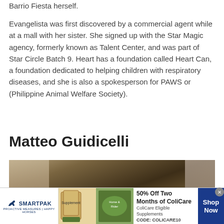Barrio Fiesta herself.
Evangelista was first discovered by a commercial agent while at a mall with her sister. She signed up with the Star Magic agency, formerly known as Talent Center, and was part of Star Circle Batch 9. Heart has a foundation called Heart Can, a foundation dedicated to helping children with respiratory diseases, and she is also a spokesperson for PAWS or (Philippine Animal Welfare Society).
Matteo Guidicelli
[Figure (photo): Photo of Matteo Guidicelli, partially visible, showing top of head with dark hair, with an infolinks badge overlay in the lower left corner.]
[Figure (other): SmartPak advertisement banner: '50% Off Two Months of ColiCare, ColiCare Eligible Supplements, CODE: COLICARE10' with Shop Now button.]